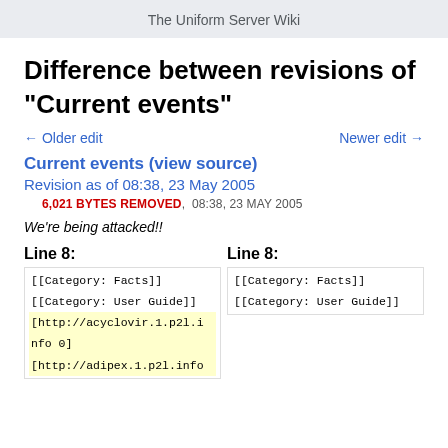The Uniform Server Wiki
Difference between revisions of "Current events"
← Older edit    Newer edit →
Current events (view source)
Revision as of 08:38, 23 May 2005
6,021 BYTES REMOVED,  08:38, 23 MAY 2005
We're being attacked!!
| Line 8: | Line 8: |
| --- | --- |
| [[Category: Facts]] | [[Category: Facts]] |
| [[Category: User Guide]] | [[Category: User Guide]] |
| [http://acyclovir.1.p2l.i
nfo 0] |  |
| [http://adipex.1.p2l.info |  |